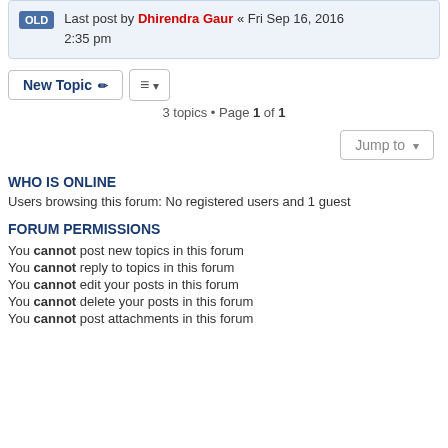Last post by Dhirendra Gaur « Fri Sep 16, 2016 2:35 pm
New Topic   3 topics • Page 1 of 1
Jump to
WHO IS ONLINE
Users browsing this forum: No registered users and 1 guest
FORUM PERMISSIONS
You cannot post new topics in this forum
You cannot reply to topics in this forum
You cannot edit your posts in this forum
You cannot delete your posts in this forum
You cannot post attachments in this forum